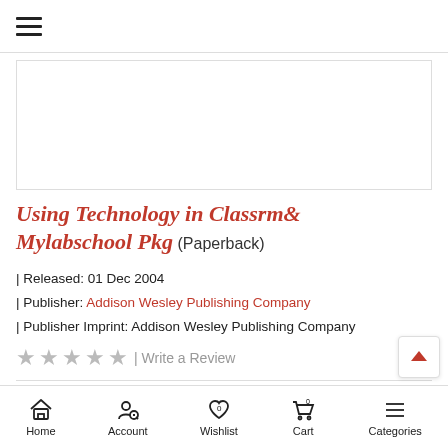[Figure (screenshot): Top navigation bar with hamburger menu icon]
[Figure (photo): Book cover image placeholder box]
Using Technology in Classrm& Mylabschool Pkg (Paperback)
| Released: 01 Dec 2004
| Publisher: Addison Wesley Publishing Company
| Publisher Imprint: Addison Wesley Publishing Company
★ ★ ★ ★ ★ | Write a Review
Rs. 8,199
Home | Account | Wishlist | Cart | Categories